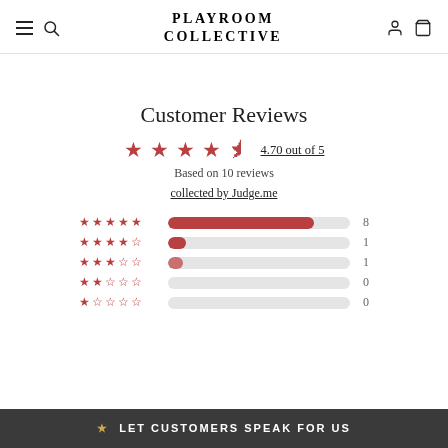PLAYROOM COLLECTIVE
Customer Reviews
4.70 out of 5
Based on 10 reviews
collected by Judge.me
[Figure (bar-chart): Star rating distribution]
★ LET CUSTOMERS SPEAK FOR US